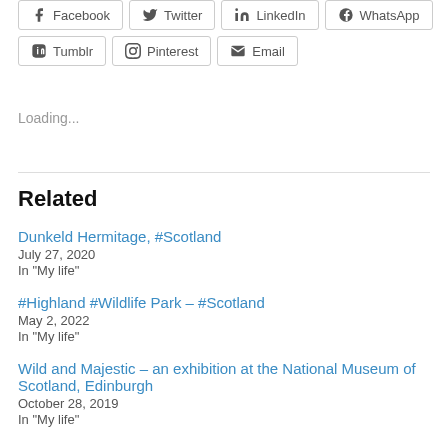[Figure (screenshot): Share buttons row 1: Facebook, Twitter, LinkedIn, WhatsApp]
[Figure (screenshot): Share buttons row 2: Tumblr, Pinterest, Email]
Loading...
Related
Dunkeld Hermitage, #Scotland
July 27, 2020
In "My life"
#Highland #Wildlife Park – #Scotland
May 2, 2022
In "My life"
Wild and Majestic – an exhibition at the National Museum of Scotland, Edinburgh
October 28, 2019
In "My life"